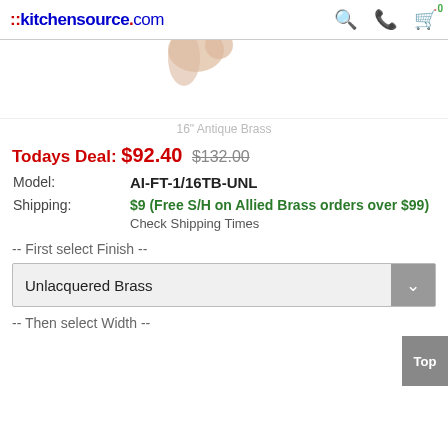::kitchensource.com
[Figure (photo): Partial product image showing a hand or product edge against white background, cropped at top]
16" Antique Brass
Todays Deal: $92.40 $132.00
| Model: | AI-FT-1/16TB-UNL |
| Shipping: | $9 (Free S/H on Allied Brass orders over $99)
Check Shipping Times |
-- First select Finish --
Unlacquered Brass
-- Then select Width --